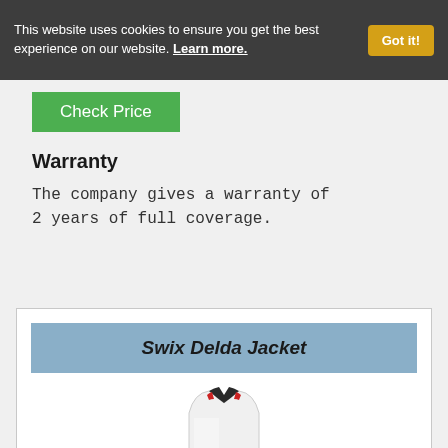This website uses cookies to ensure you get the best experience on our website. Learn more.
Check Price
Warranty
The company gives a warranty of 2 years of full coverage.
Swix Delda Jacket
[Figure (photo): Partial view of a white jacket (Swix Delda Jacket) showing the collar area]